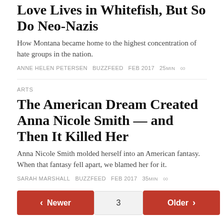Love Lives in Whitefish, But So Do Neo-Nazis
How Montana became home to the highest concentration of hate groups in the nation.
ANNE HELEN PETERSEN   BUZZFEED   FEB 2017   25MIN   ∞
ARTS
The American Dream Created Anna Nicole Smith — and Then It Killed Her
Anna Nicole Smith molded herself into an American fantasy. When that fantasy fell apart, we blamed her for it.
SARAH MARSHALL   BUZZFEED   FEB 2017   35MIN   ∞
< Newer   3   Older >